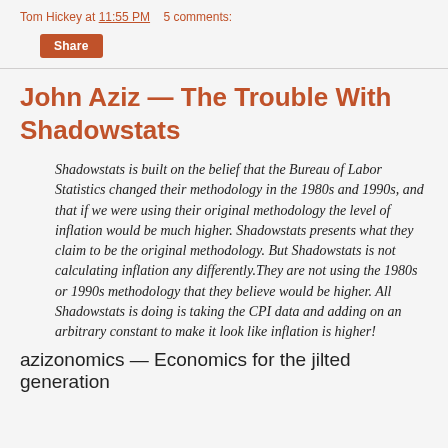Tom Hickey at 11:55 PM   5 comments:
Share
John Aziz — The Trouble With Shadowstats
Shadowstats is built on the belief that the Bureau of Labor Statistics changed their methodology in the 1980s and 1990s, and that if we were using their original methodology the level of inflation would be much higher. Shadowstats presents what they claim to be the original methodology. But Shadowstats is not calculating inflation any differently.They are not using the 1980s or 1990s methodology that they believe would be higher. All Shadowstats is doing is taking the CPI data and adding on an arbitrary constant to make it look like inflation is higher!
azizonomics — Economics for the jilted generation